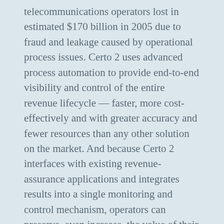telecommunications operators lost in estimated $170 billion in 2005 due to fraud and leakage caused by operational process issues. Certo 2 uses advanced process automation to provide end-to-end visibility and control of the entire revenue lifecycle — faster, more cost-effectively and with greater accuracy and fewer resources than any other solution on the market. And because Certo 2 interfaces with existing revenue-assurance applications and integrates results into a single monitoring and control mechanism, operators can preserve, even increase, the value of their existing revenue-assurance investments.
“We believe Certo 2 sets a new standard for automated revenue assurance and having several early customer deployments certainly helps validate that claim,” said John Cronin, chief